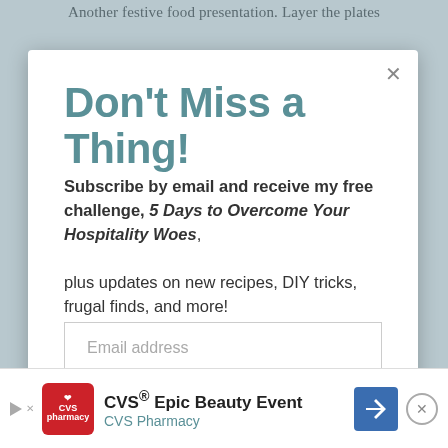Another festive food presentation. Layer the plates
Don't Miss a Thing!
Subscribe by email and receive my free challenge, 5 Days to Overcome Your Hospitality Woes, plus updates on new recipes, DIY tricks, frugal finds, and more!
Email address
SUBSCRIBE
[Figure (screenshot): CVS Epic Beauty Event advertisement banner with CVS pharmacy logo, navigation arrow icon, and close button]